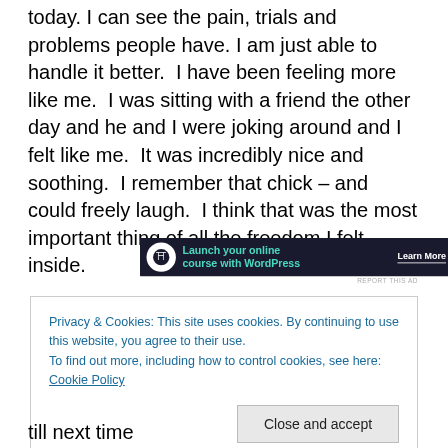today. I can see the pain, trials and problems people have. I am just able to handle it better.  I have been feeling more like me.  I was sitting with a friend the other day and he and I were joking around and I felt like me.  It was incredibly nice and soothing.  I remember that chick – and could freely laugh.  I think that was the most important thing of all the freedom I felt inside.
[Figure (other): Advertisement banner: 'Launch your online course with WordPress' with 'Learn More' button on dark background]
Privacy & Cookies: This site uses cookies. By continuing to use this website, you agree to their use.
To find out more, including how to control cookies, see here: Cookie Policy
[Close and accept button]
till next time